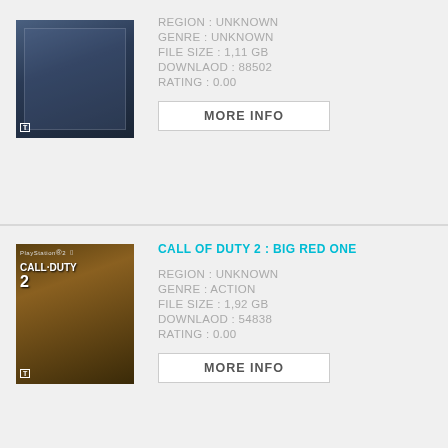[Figure (photo): Game cover image for a war/shooter game (top card)]
REGION : UNKNOWN
GENRE : UNKNOWN
FILE SIZE : 1,11 GB
DOWNLAOD : 88502
RATING : 0.00
MORE INFO
CALL OF DUTY 2 : BIG RED ONE
[Figure (photo): Game cover image for Call of Duty 2: Big Red One on PlayStation 2]
REGION : UNKNOWN
GENRE : ACTION
FILE SIZE : 1,92 GB
DOWNLAOD : 54838
RATING : 0.00
MORE INFO